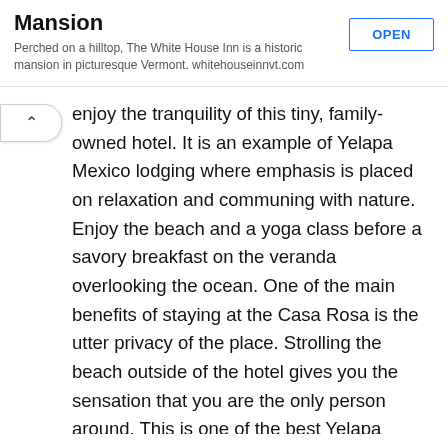The White House Inn – Historic Mansion
Perched on a hilltop, The White House Inn is a historic mansion in picturesque Vermont. whitehouseinnvt.com
enjoy the tranquility of this tiny, family-owned hotel. It is an example of Yelapa Mexico lodging where emphasis is placed on relaxation and communing with nature. Enjoy the beach and a yoga class before a savory breakfast on the veranda overlooking the ocean. One of the main benefits of staying at the Casa Rosa is the utter privacy of the place. Strolling the beach outside of the hotel gives you the sensation that you are the only person around. This is one of the best Yelapa hotels for romantic getaways and tranquil retreats. It is also more than possible to find excellent deals on accommodations at this hotel. Book your reservations as far in advance as possible to realize the greatest savings on the best hotels in Yelapa.